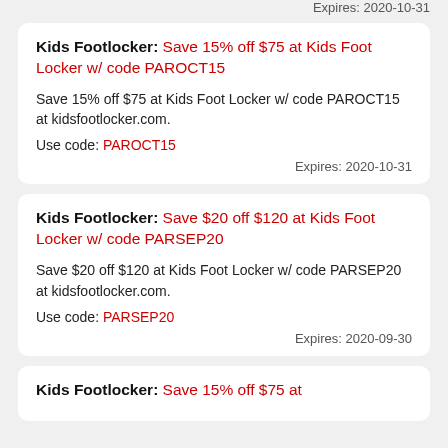Expires: 2020-10-31
Kids Footlocker: Save 15% off $75 at Kids Foot Locker w/ code PAROCT15
Save 15% off $75 at Kids Foot Locker w/ code PAROCT15 at kidsfootlocker.com.
Use code: PAROCT15
Expires: 2020-10-31
Kids Footlocker: Save $20 off $120 at Kids Foot Locker w/ code PARSEP20
Save $20 off $120 at Kids Foot Locker w/ code PARSEP20 at kidsfootlocker.com.
Use code: PARSEP20
Expires: 2020-09-30
Kids Footlocker: Save 15% off $75 at